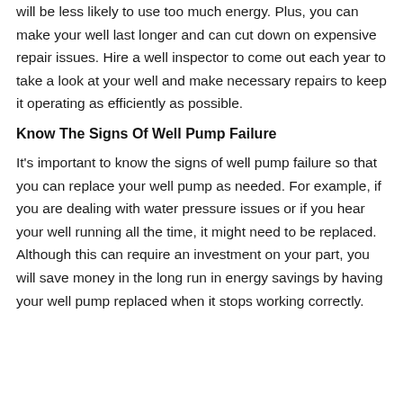will be less likely to use too much energy. Plus, you can make your well last longer and can cut down on expensive repair issues. Hire a well inspector to come out each year to take a look at your well and make necessary repairs to keep it operating as efficiently as possible.
Know The Signs Of Well Pump Failure
It's important to know the signs of well pump failure so that you can replace your well pump as needed. For example, if you are dealing with water pressure issues or if you hear your well running all the time, it might need to be replaced. Although this can require an investment on your part, you will save money in the long run in energy savings by having your well pump replaced when it stops working correctly.